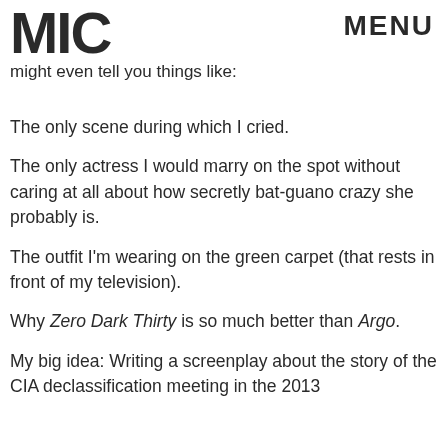MIC   MENU
might even tell you things like:
The only scene during which I cried.
The only actress I would marry on the spot without caring at all about how secretly bat-guano crazy she probably is.
The outfit I'm wearing on the green carpet (that rests in front of my television).
Why Zero Dark Thirty is so much better than Argo.
My big idea: Writing a screenplay about the story of the CIA declassification meeting in the 2013...